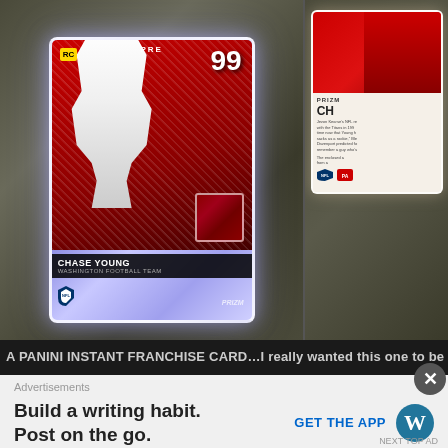[Figure (photo): Two trading cards shown side by side against a dark textured background. Left card: Chase Young #99 Washington Football Team Panini Prizm rookie card with holographic/prismatic finish and jersey relic patch. Right card: Panini Prizm card (partially visible) showing text and a player photo on the right edge.]
A PANINI INSTANT FRANCHISE CARD…I really wanted this one to be a rec
Advertisements
Build a writing habit.
Post on the go.
GET THE APP